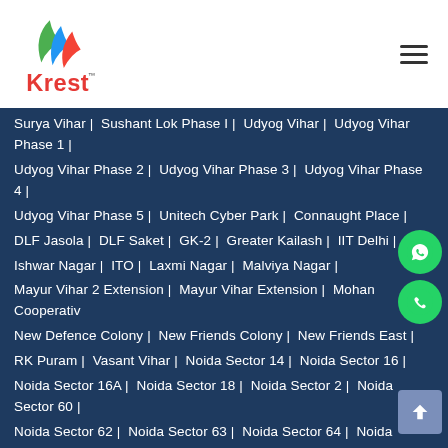[Figure (logo): Krest logo with stylized green and blue flame/leaf icon above red 'Krest' text with TM mark]
Surya Vihar | Sushant Lok Phase I | Udyog Vihar | Udyog Vihar Phase 1 | Udyog Vihar Phase 2 | Udyog Vihar Phase 3 | Udyog Vihar Phase 4 | Udyog Vihar Phase 5 | Unitech Cyber Park | Connaught Place | DLF Jasola | DLF Saket | GK-2 | Greater Kailash | IIT Delhi | Ishwar Nagar | ITO | Laxmi Nagar | Malviya Nagar | Mayur Vihar 2 Extension | Mayur Vihar Extension | Mohan Cooperative | New Defence Colony | New Friends Colony | New Friends East | RK Puram | Vasant Vihar | Noida Sector 14 | Noida Sector 16 | Noida Sector 16A | Noida Sector 18 | Noida Sector 2 | Noida Sector 60 | Noida Sector 62 | Noida Sector 63 | Noida Sector 64 | Noida Sector 65 | Noida Sector 8 | Noida Sector 8A | Noida Sector 9 |